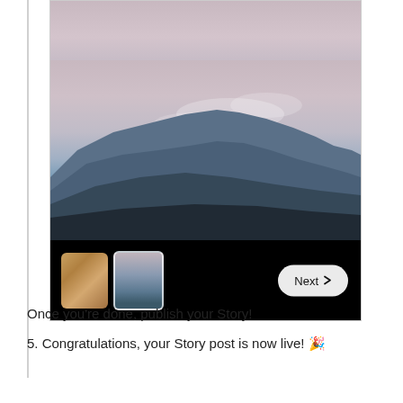[Figure (screenshot): A smartphone screenshot showing a landscape photo of mountains and sky in a photo selection interface, with two image thumbnails at the bottom left and a 'Next >' button at the bottom right, plus Android navigation bar at the very bottom.]
Once you're done, publish your Story!
5. Congratulations, your Story post is now live! 🎉